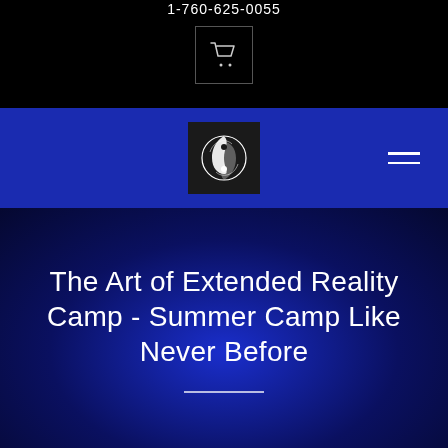1-760-625-0055
[Figure (logo): Shopping cart icon in a bordered box on black background]
[Figure (logo): Circular yin-yang style logo with fish/dragon design on dark square background, displayed on blue navigation bar]
The Art of Extended Reality Camp - Summer Camp Like Never Before